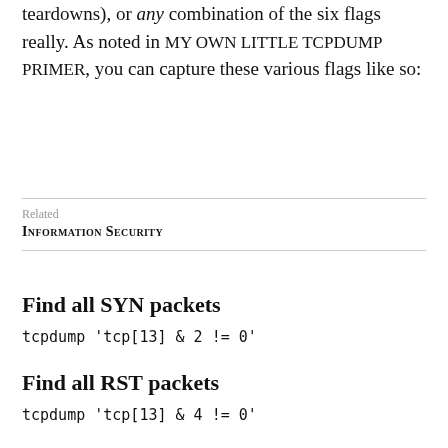teardowns), or any combination of the six flags really. As noted in MY OWN LITTLE TCPDUMP PRIMER, you can capture these various flags like so:
Related
INFORMATION SECURITY
Find all SYN packets
tcpdump 'tcp[13] & 2 != 0'
Find all RST packets
tcpdump 'tcp[13] & 4 != 0'